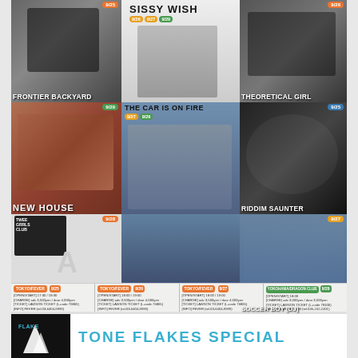[Figure (infographic): Music event poster featuring multiple artist photos in a grid layout. Artists include: FRONTIER BACKYARD (9/25), SISSY WISH (9/26, 9/27, 9/29), THEORETICAL GIRL (9/26), NEW HOUSE (9/29), THE CAR IS ON FIRE (9/27, 9/29), RIDDIM SAUNTER (9/25), A (9/28), TWEE GRRRLS CLUB DJ (9/29), アナ (9/28), SOCCER BOY DJ (9/27). Four venues: TOKYO/FEVER on 9/25, 9/26, 9/27; YOKOHAMA DRAGON CLUB on 9/29.]
TONE FLAKES SPECIAL